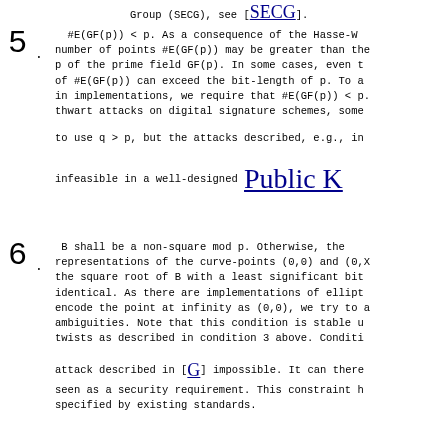Group (SECG), see [SECG].
5. #E(GF(p)) < p. As a consequence of the Hasse-W number of points #E(GF(p)) may be greater than the p of the prime field GF(p). In some cases, even t of #E(GF(p)) can exceed the bit-length of p. To a in implementations, we require that #E(GF(p)) < p. thwart attacks on digital signature schemes, some to use q > p, but the attacks described, e.g., in infeasible in a well-designed Public K
6. B shall be a non-square mod p. Otherwise, the representations of the curve-points (0,0) and (0,X the square root of B with a least significant bit identical. As there are implementations of ellipt encode the point at infinity as (0,0), we try to a ambiguities. Note that this condition is stable u twists as described in condition 3 above. Conditi attack described in [G] impossible. It can there seen as a security requirement. This constraint h specified by existing standards.